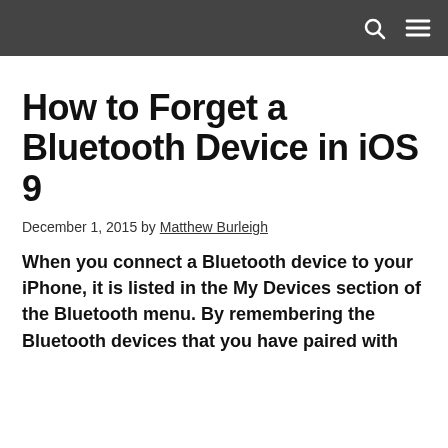How to Forget a Bluetooth Device in iOS 9
December 1, 2015 by Matthew Burleigh
When you connect a Bluetooth device to your iPhone, it is listed in the My Devices section of the Bluetooth menu. By remembering the Bluetooth devices that you have paired with